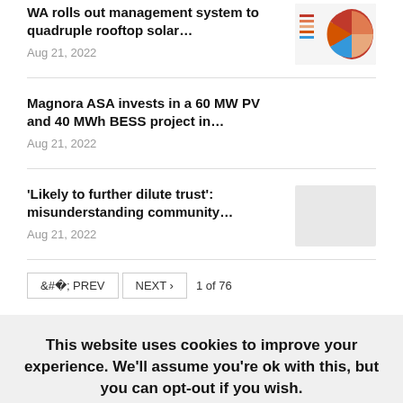WA rolls out management system to quadruple rooftop solar… Aug 21, 2022
Magnora ASA invests in a 60 MW PV and 40 MWh BESS project in… Aug 21, 2022
'Likely to further dilute trust': misunderstanding community… Aug 21, 2022
< PREV  NEXT >  1 of 76
This website uses cookies to improve your experience. We'll assume you're ok with this, but you can opt-out if you wish.
Accept  Read More